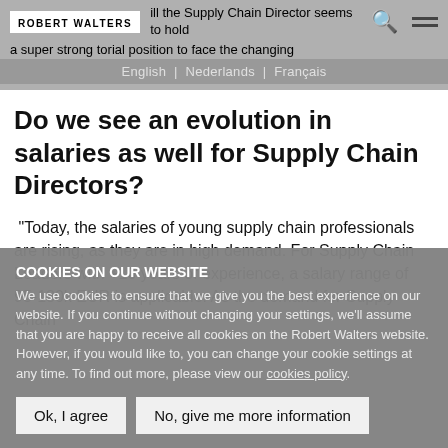...ill the Supply Chain Director seems to hold a super strong editorial position to face the changing scheme." | English | Nederlands | Français
Do we see an evolution in salaries as well for Supply Chain Directors?
“Today, the salaries of young supply chain professionals are rising, as they are in high demand. For Supply Chain Leaders with +10 years of experience, a salary range of 95-180k EUR is applicable. As the demand for Supply Chain
COOKIES ON OUR WEBSITE
We use cookies to ensure that we give you the best experience on our website. If you continue without changing your settings, we’ll assume that you are happy to receive all cookies on the Robert Walters website. However, if you would like to, you can change your cookie settings at any time. To find out more, please view our cookies policy.